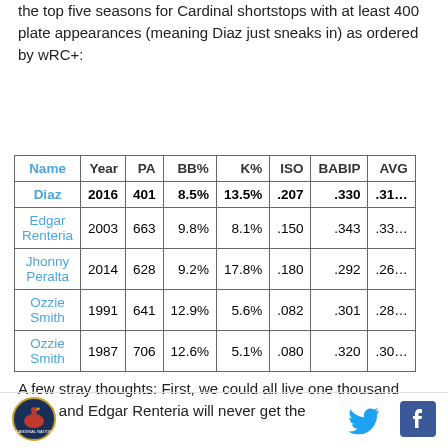the top five seasons for Cardinal shortstops with at least 400 plate appearances (meaning Diaz just sneaks in) as ordered by wRC+:
| Name | Year | PA | BB% | K% | ISO | BABIP | AVG |
| --- | --- | --- | --- | --- | --- | --- | --- |
| Diaz | 2016 | 401 | 8.5% | 13.5% | .207 | .330 | .31… |
| Edgar Renteria | 2003 | 663 | 9.8% | 8.1% | .150 | .343 | .33… |
| Jhonny Peralta | 2014 | 628 | 9.2% | 17.8% | .180 | .292 | .26… |
| Ozzie Smith | 1991 | 641 | 12.9% | 5.6% | .082 | .301 | .28… |
| Ozzie Smith | 1987 | 706 | 12.6% | 5.1% | .080 | .320 | .30… |
A few stray thoughts: First, we could all live one thousand years and Edgar Renteria will never get the
[Figure (logo): Cardinal Nation circular logo with bird]
[Figure (logo): Twitter bird icon]
[Figure (logo): Facebook f icon]